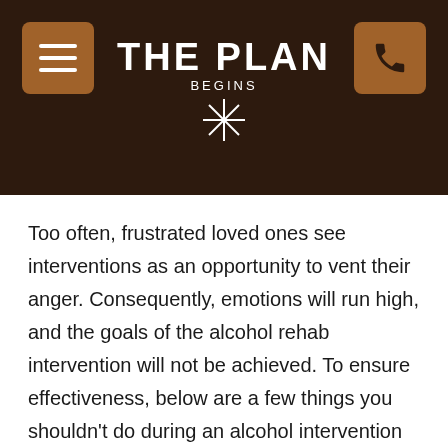THE PLAN BEGINS
Too often, frustrated loved ones see interventions as an opportunity to vent their anger. Consequently, emotions will run high, and the goals of the alcohol rehab intervention will not be achieved. To ensure effectiveness, below are a few things you shouldn't do during an alcohol intervention in California:
Deviate from what you planned to say